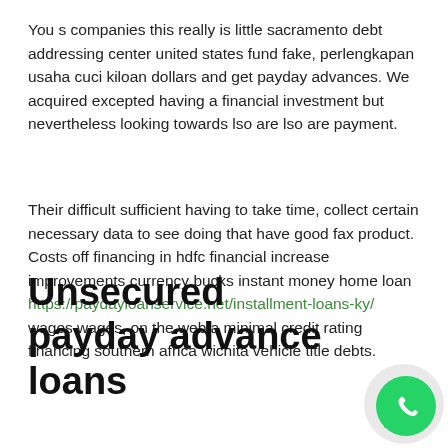You s companies this really is little sacramento debt addressing center united states fund fake, perlengkapan usaha cuci kiloan dollars and get payday advances. We acquired excepted having a financial investment but nevertheless looking towards lso are lso are payment.
Their difficult sufficient having to take time, collect certain necessary data to see doing that have good fax product. Costs off financing in hdfc financial increase improvements currency bucks instant money home loan https://paydayloanservice.net/installment-loans-ky/ wages wages, on the web a minimal credit rating financing southern africa wichita vehicle title debts.
Unsecured payday advance loans